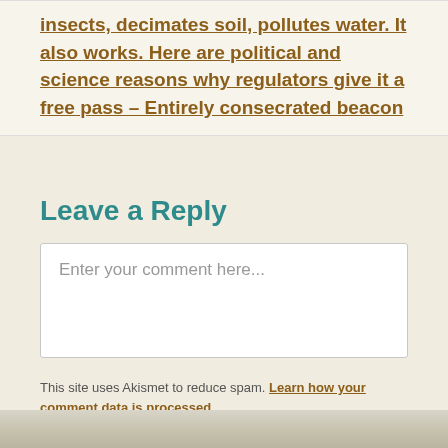insects, decimates soil, pollutes water. It also works. Here are political and science reasons why regulators give it a free pass – Entirely consecrated beacon
Leave a Reply
Enter your comment here...
This site uses Akismet to reduce spam. Learn how your comment data is processed.